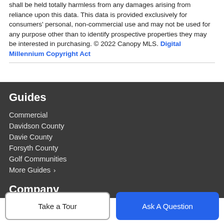shall be held totally harmless from any damages arising from reliance upon this data. This data is provided exclusively for consumers' personal, non-commercial use and may not be used for any purpose other than to identify prospective properties they may be interested in purchasing. © 2022 Canopy MLS. Digital Millennium Copyright Act
Guides
Commercial
Davidson County
Davie County
Forsyth County
Golf Communities
More Guides ›
Company
Take a Tour
Ask A Question